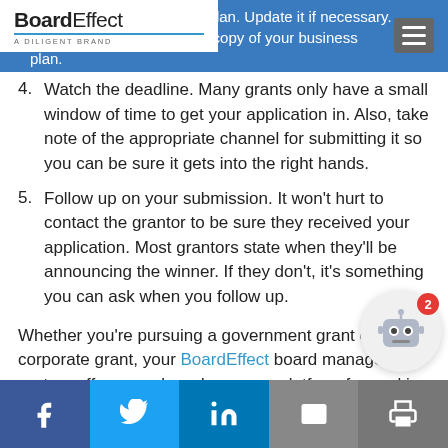BoardEffect — A DILIGENT BRAND
4. Watch the deadline. Many grants only have a small window of time to get your application in. Also, take note of the appropriate channel for submitting it so you can be sure it gets into the right hands.
5. Follow up on your submission. It won't hurt to contact the grantor to be sure they received your application. Most grantors state when they'll be announcing the winner. If they don't, it's something you can ask when you follow up.
Whether you're pursuing a government grant or a corporate grant, your BoardEffect board management system offers your board a secure platform for working on government grants for small business startups. The grant process can be lengthy and there's a lot to keep track of, and you'll have a greater chance of success by using a board management system that helps you keep everything
Facebook | Twitter | LinkedIn | Email | Print